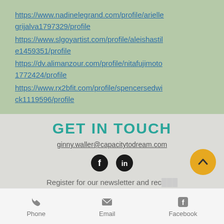https://www.nadinelegrand.com/profile/ariellegrijalva1797329/profile
https://www.slgoyartist.com/profile/aleishastile1459351/profile
https://dv.alimanzour.com/profile/nitafujimoto1772424/profile
https://www.rx2bfit.com/profile/spencersedwick1119596/profile
GET IN TOUCH
ginny.waller@capacitytodream.com
[Figure (other): Facebook and LinkedIn social media icons (black circles with white logos)]
Register for our newsletter and rec... free 45 minute training video on
Phone   Email   Facebook